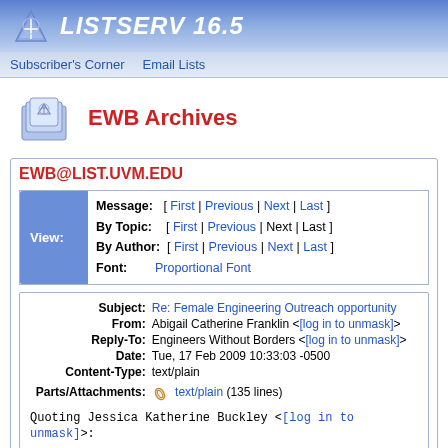LISTSERV 16.5
Subscriber's Corner  Email Lists
EWB Archives
EWB@LIST.UVM.EDU
| View: | Message: | By Topic: | By Author: | Font: |
| --- | --- | --- | --- | --- |
| Message: | [ First | Previous | Next | Last ] |
| By Topic: | [ First | Previous | Next | Last ] |
| By Author: | [ First | Previous | Next | Last ] |
| Font: | Proportional Font |
| Subject | From | Reply-To | Date | Content-Type | Parts/Attachments |
| --- | --- | --- | --- | --- | --- |
| Subject: | Re: Female Engineering Outreach opportunity |
| From: | Abigail Catherine Franklin <[log in to unmask]> |
| Reply-To: | Engineers Without Borders <[log in to unmask]> |
| Date: | Tue, 17 Feb 2009 10:33:03 -0500 |
| Content-Type: | text/plain |
| Parts/Attachments: | text/plain (135 lines) |
Quoting Jessica Katherine Buckley <[log in to unmask]>: